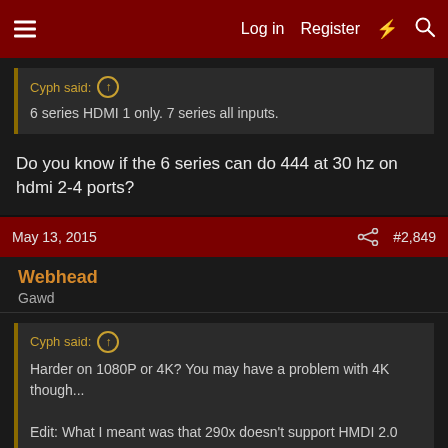Log in  Register
Cyph said: ↑
6 series HDMI 1 only. 7 series all inputs.
Do you know if the 6 series can do 444 at 30 hz on hdmi 2-4 ports?
May 13, 2015  #2,849
Webhead
Gawd
Cyph said: ↑
Harder on 1080P or 4K? You may have a problem with 4K though...

Edit: What I meant was that 290x doesn't support HMDI 2.0